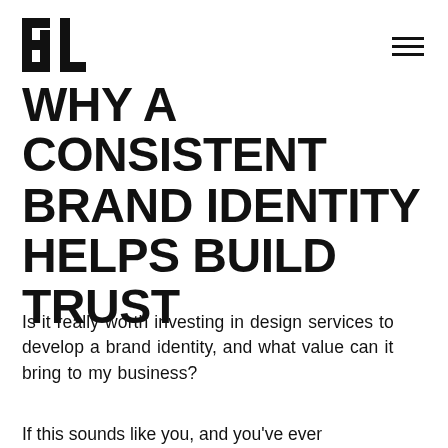BL [logo] [hamburger menu]
WHY A CONSISTENT BRAND IDENTITY HELPS BUILD TRUST
Is it really worth investing in design services to develop a brand identity, and what value can it bring to my business?
If this sounds like you, and you've ever